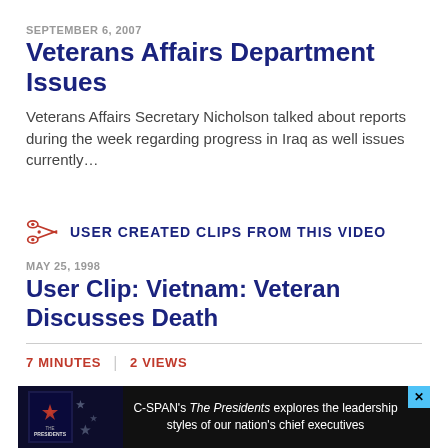SEPTEMBER 6, 2007
Veterans Affairs Department Issues
Veterans Affairs Secretary Nicholson talked about reports during the week regarding progress in Iraq as well issues currently…
USER CREATED CLIPS FROM THIS VIDEO
MAY 25, 1998
User Clip: Vietnam: Veteran Discusses Death
7 MINUTES   |   2 VIEWS
[Figure (other): C-SPAN advertisement banner: 'C-SPAN's The Presidents explores the leadership styles of our nation's chief executives' with book cover image and close button]